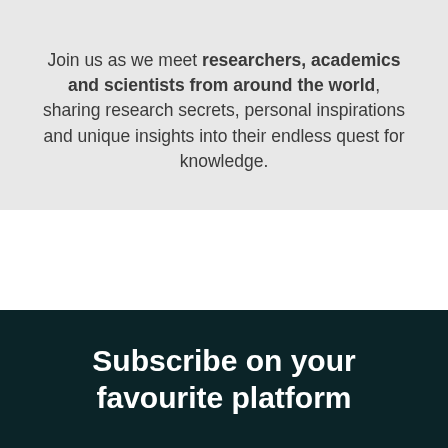Join us as we meet researchers, academics and scientists from around the world, sharing research secrets, personal inspirations and unique insights into their endless quest for knowledge.
Subscribe on your favourite platform